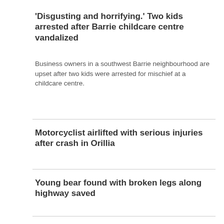'Disgusting and horrifying.' Two kids arrested after Barrie childcare centre vandalized
Business owners in a southwest Barrie neighbourhood are upset after two kids were arrested for mischief at a childcare centre.
Motorcyclist airlifted with serious injuries after crash in Orillia
Young bear found with broken legs along highway saved
TORONTO
[Figure (photo): Dark outdoor photo, partially visible at bottom of page]